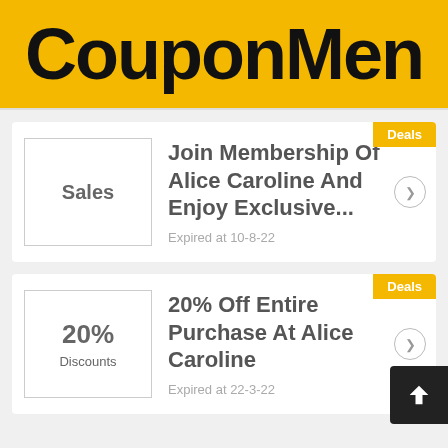CouponMen
Deals
[Figure (other): Sales thumbnail box with text 'Sales']
Join Membership Of Alice Caroline And Enjoy Exclusive...
Expired at 10-8-22
Deals
[Figure (other): Discount thumbnail box with '20%' and 'Discounts']
20% Off Entire Purchase At Alice Caroline
Expired at 22-3-22